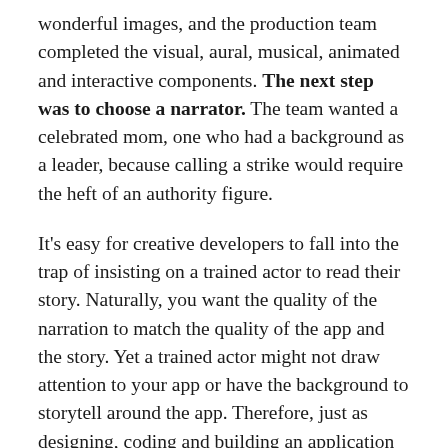wonderful images, and the production team completed the visual, aural, musical, animated and interactive components. The next step was to choose a narrator. The team wanted a celebrated mom, one who had a background as a leader, because calling a strike would require the heft of an authority figure.
It's easy for creative developers to fall into the trap of insisting on a trained actor to read their story. Naturally, you want the quality of the narration to match the quality of the app and the story. Yet a trained actor might not draw attention to your app or have the background to storytell around the app. Therefore, just as designing, coding and building an application take some creativity, so does selecting a voice for the app. For "The House That Went on